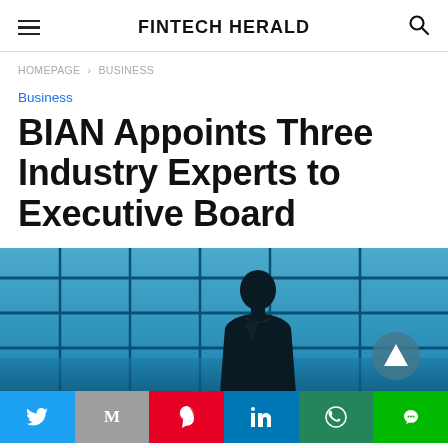FINTECH HERALD
HOMEPAGE › BUSINESS
Business
BIAN Appoints Three Industry Experts to Executive Board
[Figure (photo): Silhouette of a businessman standing in front of large blue-tinted windows in a modern office or airport building]
Social share buttons: Twitter, Gmail, Pinterest, LinkedIn, WhatsApp, LINE